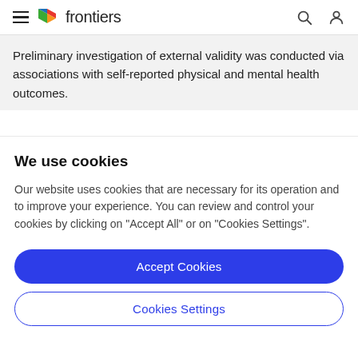frontiers
Preliminary investigation of external validity was conducted via associations with self-reported physical and mental health outcomes.
We use cookies
Our website uses cookies that are necessary for its operation and to improve your experience. You can review and control your cookies by clicking on "Accept All" or on "Cookies Settings".
Accept Cookies
Cookies Settings